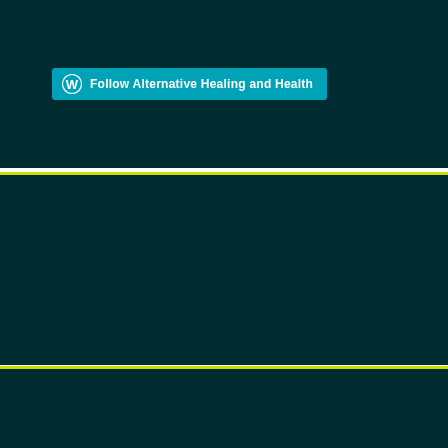[Figure (screenshot): WordPress Follow button widget: teal button with WordPress logo icon and text 'Follow Alternative Healing and Health' on dark teal background panel]
Bodywise Alternative Health and Wellbeing
Recent Posts